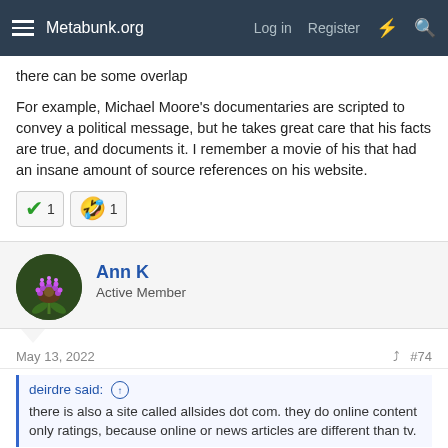Metabunk.org  Log in  Register
there can be some overlap
For example, Michael Moore's documentaries are scripted to convey a political message, but he takes great care that his facts are true, and documents it. I remember a movie of his that had an insane amount of source references on his website.
Ann K
Active Member
May 13, 2022   #74
deirdre said:
there is also a site called allsides dot com. they do online content only ratings, because online or news articles are different than tv.